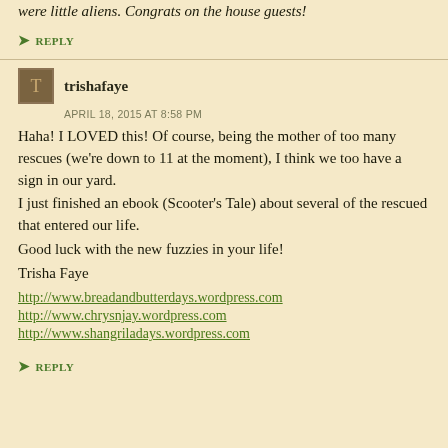were little aliens. Congrats on the house guests!
➤ REPLY
trishafaye
APRIL 18, 2015 AT 8:58 PM
Haha! I LOVED this! Of course, being the mother of too many rescues (we're down to 11 at the moment), I think we too have a sign in our yard.
I just finished an ebook (Scooter's Tale) about several of the rescued that entered our life.
Good luck with the new fuzzies in your life!
Trisha Faye
http://www.breadandbutterdays.wordpress.com
http://www.chrysnjay.wordpress.com
http://www.shangriladays.wordpress.com
➤ REPLY